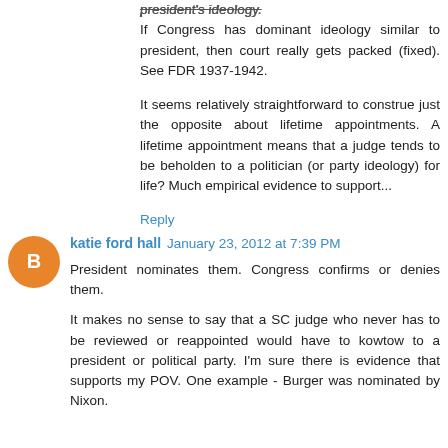president's ideology.
If Congress has dominant ideology similar to president, then court really gets packed (fixed). See FDR 1937-1942.
It seems relatively straightforward to construe just the opposite about lifetime appointments. A lifetime appointment means that a judge tends to be beholden to a politician (or party ideology) for life? Much empirical evidence to support...
Reply
katie ford hall   January 23, 2012 at 7:39 PM
President nominates them. Congress confirms or denies them.
It makes no sense to say that a SC judge who never has to be reviewed or reappointed would have to kowtow to a president or political party. I'm sure there is evidence that supports my POV. One example - Burger was nominated by Nixon.